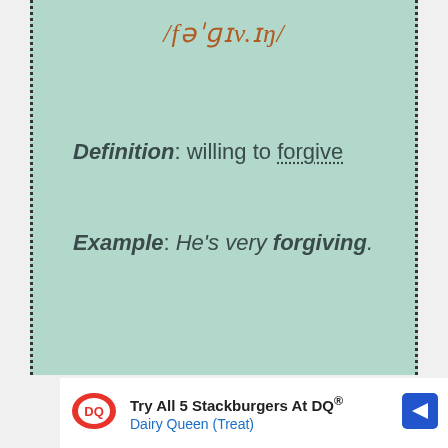/fəˈɡɪv.ɪŋ/
Definition: willing to forgive
Example: He's very forgiving.
Try All 5 Stackburgers At DQ® Dairy Queen (Treat)